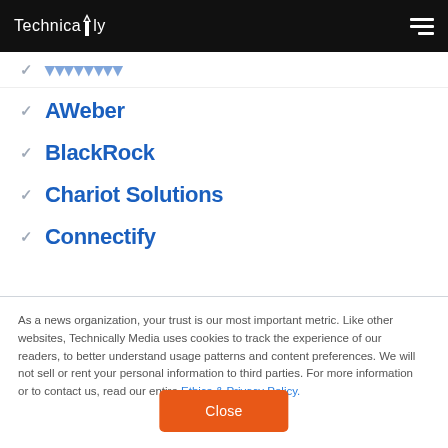Technically
AWeber
BlackRock
Chariot Solutions
Connectify
As a news organization, your trust is our most important metric. Like other websites, Technically Media uses cookies to track the experience of our readers, to better understand usage patterns and content preferences. We will not sell or rent your personal information to third parties. For more information or to contact us, read our entire Ethics & Privacy Policy.
Close